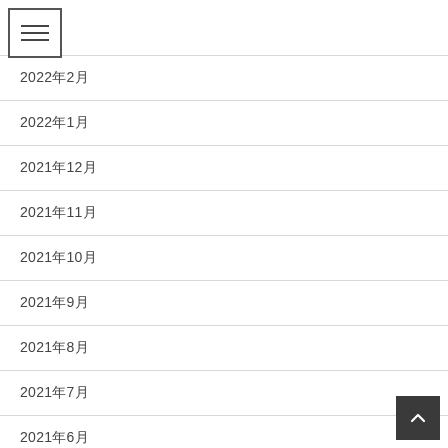[Figure (screenshot): Hamburger menu icon (three horizontal lines) in a bordered box in the top-left corner]
2022年2月
2022年1月
2021年12月
2021年11月
2021年10月
2021年9月
2021年8月
2021年7月
2021年6月
2021年5月
[Figure (other): Scroll-to-top button with upward caret arrow in a dark square, bottom-right corner]